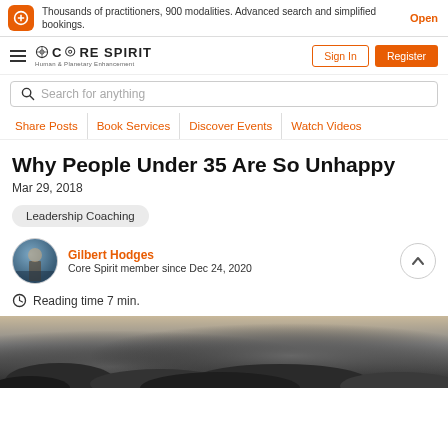Thousands of practitioners, 900 modalities. Advanced search and simplified bookings. Open
[Figure (logo): Core Spirit logo with hamburger menu, Sign In and Register buttons]
Search for anything
Share Posts | Book Services | Discover Events | Watch Videos
Why People Under 35 Are So Unhappy
Mar 29, 2018
Leadership Coaching
Gilbert Hodges
Core Spirit member since Dec 24, 2020
Reading time 7 min.
[Figure (photo): Dark moody landscape photo showing rocks and misty scenery]